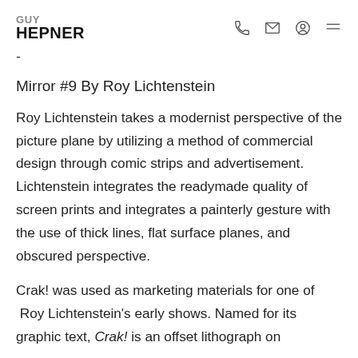GUY HEPNER
-
Mirror #9 By Roy Lichtenstein
Roy Lichtenstein takes a modernist perspective of the picture plane by utilizing a method of commercial design through comic strips and advertisement. Lichtenstein integrates the readymade quality of screen prints and integrates a painterly gesture with the use of thick lines, flat surface planes, and obscured perspective.
Crak! was used as marketing materials for one of Roy Lichtenstein's early shows. Named for its graphic text, Crak! is an offset lithograph on